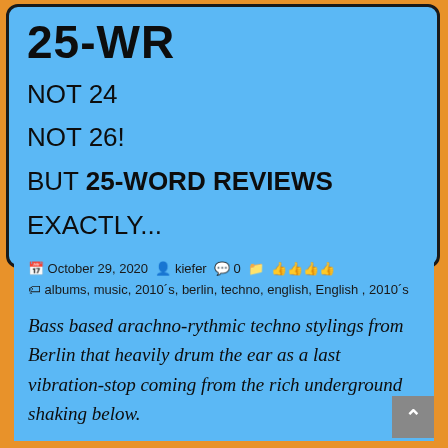25-WR
NOT 24
NOT 26!
BUT 25-WORD REVIEWS
EXACTLY...
October 29, 2020  kiefer  0  👍👍👍👍  albums, music, 2010´s, berlin, techno, english, English , 2010´s
Bass based arachno-rythmic techno stylings from Berlin that heavily drum the ear as a last vibration-stop coming from the rich underground shaking below.